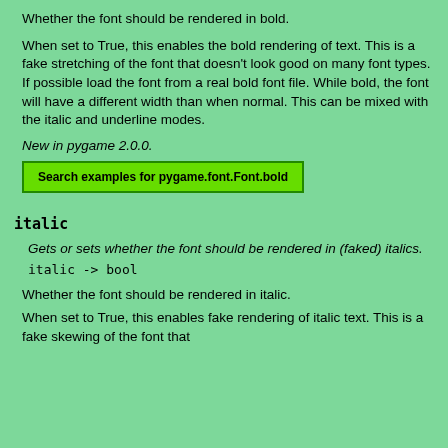Whether the font should be rendered in bold.
When set to True, this enables the bold rendering of text. This is a fake stretching of the font that doesn't look good on many font types. If possible load the font from a real bold font file. While bold, the font will have a different width than when normal. This can be mixed with the italic and underline modes.
New in pygame 2.0.0.
Search examples for pygame.font.Font.bold
italic
Gets or sets whether the font should be rendered in (faked) italics.
italic -> bool
Whether the font should be rendered in italic.
When set to True, this enables fake rendering of italic text. This is a fake skewing of the font that